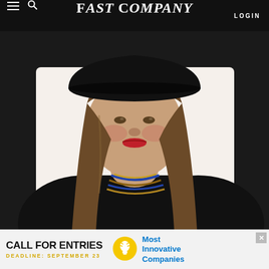FAST COMPANY
[Figure (photo): Portrait photo of a woman wearing a black wide-brim hat and black outfit with ornate gold and blue beaded necklaces, smiling, against a white background]
[Figure (infographic): Advertisement banner: CALL FOR ENTRIES, DEADLINE: SEPTEMBER 23, lightbulb icon, Most Innovative Companies]